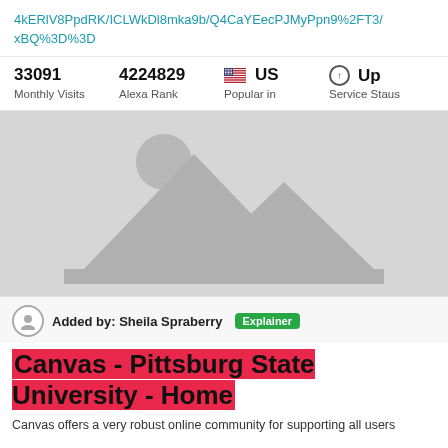4kERlV8PpdRK/ICLWkDl8mka9b/Q4CaYEecPJMyPpn9%2FT3/xBQ%3D%3D
33091 Monthly Visits | 4224829 Alexa Rank | US Popular in | Up Service Staus
[Figure (photo): Placeholder image with mountain and sun silhouette on grey background]
Added by: Sheila Spraberry  Explainer
Canvas - Pittsburg State University - Home
Canvas offers a very robust online community for supporting all users